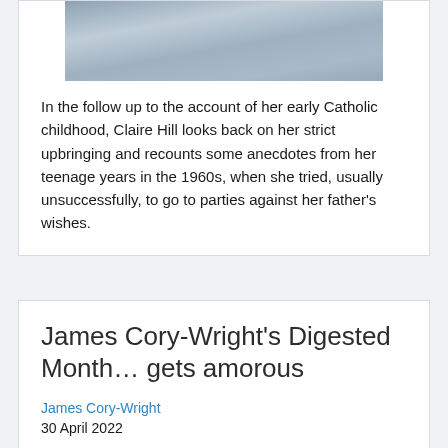[Figure (photo): Partial photograph of an object, appears to be a wrapped or framed item with a blue-grey tone, shown at the top of the card]
In the follow up to the account of her early Catholic childhood, Claire Hill looks back on her strict upbringing and recounts some anecdotes from her teenage years in the 1960s, when she tried, usually unsuccessfully, to go to parties against her father's wishes.
James Cory-Wright’s Digested Month… gets amorous
James Cory-Wright
30 April 2022